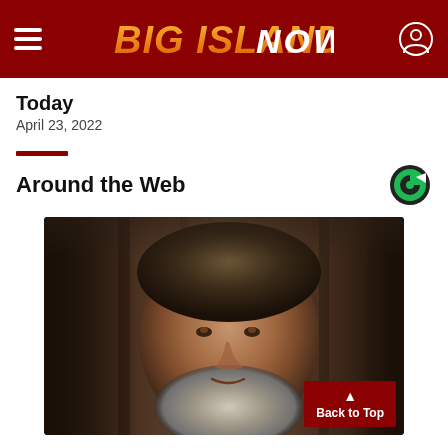Big Island Now — site header with hamburger menu and user icon
Today
April 23, 2022
Around the Web
[Figure (photo): Portrait photo of an elderly man with gray beard and white hair, wearing dark clothing, photographed against a dark brown curtain background.]